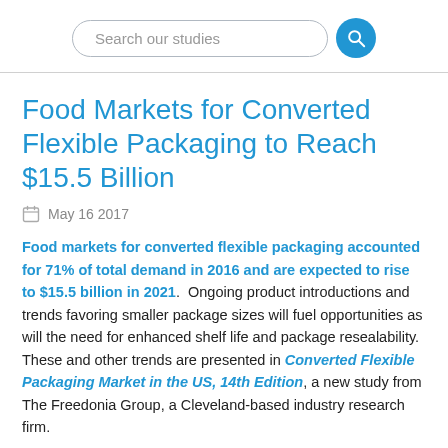Search our studies
Food Markets for Converted Flexible Packaging to Reach $15.5 Billion
May 16 2017
Food markets for converted flexible packaging accounted for 71% of total demand in 2016 and are expected to rise to $15.5 billion in 2021. Ongoing product introductions and trends favoring smaller package sizes will fuel opportunities as will the need for enhanced shelf life and package resealability. These and other trends are presented in Converted Flexible Packaging Market in the US, 14th Edition, a new study from The Freedonia Group, a Cleveland-based industry research firm.
According to analyst Katie Wieser, “Pouches and bags will